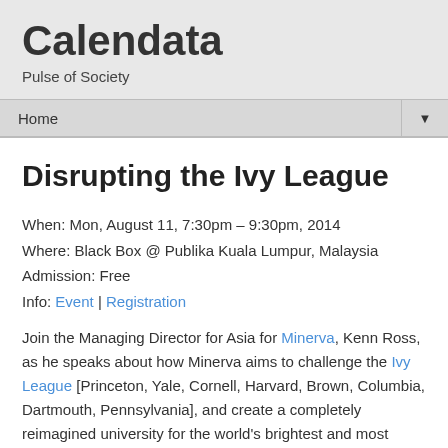Calendata
Pulse of Society
Home ▼
Disrupting the Ivy League
When: Mon, August 11, 7:30pm – 9:30pm, 2014
Where: Black Box @ Publika Kuala Lumpur, Malaysia
Admission: Free
Info: Event | Registration
Join the Managing Director for Asia for Minerva, Kenn Ross, as he speaks about how Minerva aims to challenge the Ivy League [Princeton, Yale, Cornell, Harvard, Brown, Columbia, Dartmouth, Pennsylvania], and create a completely reimagined university for the world's brightest and most